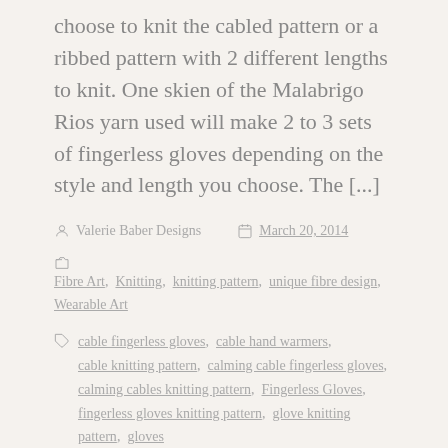choose to knit the cabled pattern or a ribbed pattern with 2 different lengths to knit. One skien of the Malabrigo Rios yarn used will make 2 to 3 sets of fingerless gloves depending on the style and length you choose. The [...]
Valerie Baber Designs   March 20, 2014
Fibre Art, Knitting, knitting pattern, unique fibre design, Wearable Art
cable fingerless gloves, cable hand warmers, cable knitting pattern, calming cable fingerless gloves, calming cables knitting pattern, Fingerless Gloves, fingerless gloves knitting pattern, glove knitting pattern, gloves, hand painted gloves, hand warmers, knitting pattern